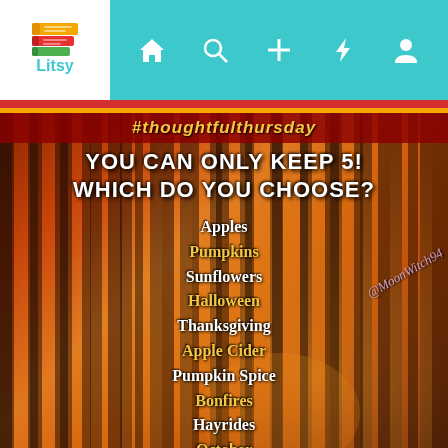Litsy app navigation bar with home, search, plus, lightning, and profile icons
#thoughtfulthursday
YOU CAN ONLY KEEP 5! WHICH DO YOU CHOOSE?
Apples
Pumpkins
Sunflowers
Halloween
Thanksgiving
Apple Cider
Pumpkin Spice
Bonfires
Hayrides
October
November
@MoonWitch94